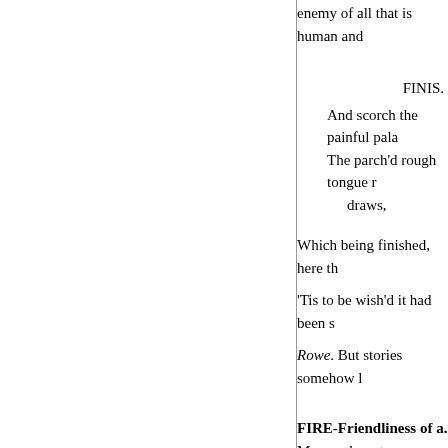enemy of all that is human and
FINIS.
And scorch the painful pala
The parch'd rough tongue r
    draws,
Which being finished, here th
'Tis to be wish'd it had been s
Rowe. But stories somehow l
FIRE-Friendliness of a. My s and my tongue cleaveth to my ja into the dust of death.
With welcome glad, and mak
David. As pleasant as a palac
He warms you-weary ? he ref prepare your food for you — co light to youscarest me with drea visions. I am a burden to mysel